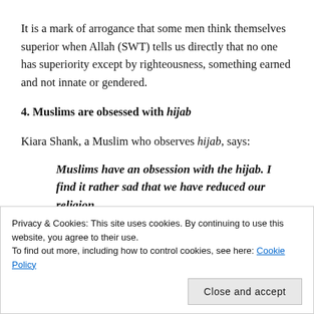It is a mark of arrogance that some men think themselves superior when Allah (SWT) tells us directly that no one has superiority except by righteousness, something earned and not innate or gendered.
4. Muslims are obsessed with hijab
Kiara Shank, a Muslim who observes hijab, says:
Muslims have an obsession with the hijab. I find it rather sad that we have reduced our religion
Privacy & Cookies: This site uses cookies. By continuing to use this website, you agree to their use.
To find out more, including how to control cookies, see here: Cookie Policy
Close and accept